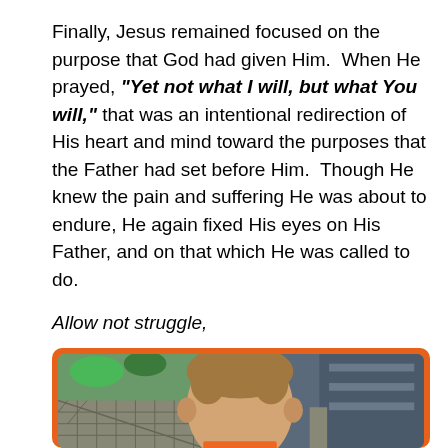Finally, Jesus remained focused on the purpose that God had given Him.  When He prayed, "Yet not what I will, but what You will," that was an intentional redirection of His heart and mind toward the purposes that the Father had set before Him.  Though He knew the pain and suffering He was about to endure, He again fixed His eyes on His Father, and on that which He was called to do.
Allow not struggle,
[Figure (photo): A young child with light brown curly hair photographed indoors, with colorful play equipment visible in the background, framed with an orange border.]